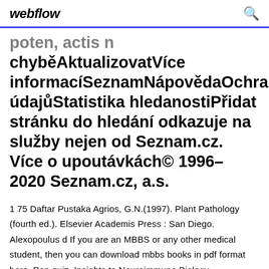webflow  🔍
poten, actis n chyběAktualizovatVíce informacíSeznamNápovědaOchrana údajůStatistika hledanostiPřidat stránku do hledání odkazuje na služby nejen od Seznam.cz. Více o upoutávkách© 1996–2020 Seznam.cz, a.s.
1 75 Daftar Pustaka Agrios, G.N.(1997). Plant Pathology (fourth ed.). Elsevier Academis Press : San Diego. Alexopoulus d If you are an MBBS or any other medical student, then you can download mbbs books in pdf format here. Pop quiz. Insights to Neuroimmune Biology